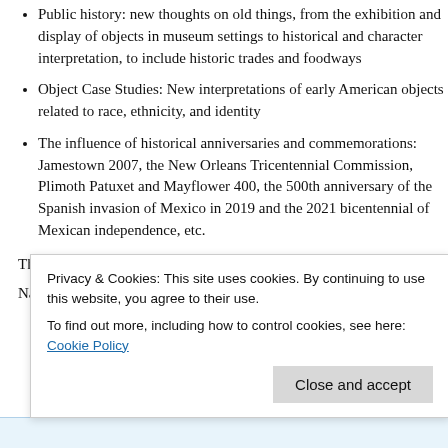Public history: new thoughts on old things, from the exhibition and display of objects in museum settings to historical and character interpretation, to include historic trades and foodways
Object Case Studies: New interpretations of early American objects related to race, ethnicity, and identity
The influence of historical anniversaries and commemorations: Jamestown 2007, the New Orleans Tricentennial Commission, Plimoth Patuxet and Mayflower 400, the 500th anniversary of the Spanish invasion of Mexico in 2019 and the 2021 bicentennial of Mexican independence, etc.
This event is co-convened by Dr. Cynthia Chin (Fred W. Smith National Library for the Study of George Washington) and
Privacy & Cookies: This site uses cookies. By continuing to use this website, you agree to their use.
To find out more, including how to control cookies, see here: Cookie Policy